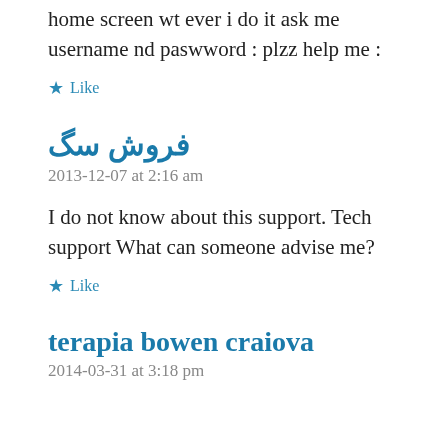home screen wt ever i do it ask me username nd paswword : plzz help me :
Like
فروش سگ
2013-12-07 at 2:16 am
I do not know about this support. Tech support What can someone advise me?
Like
terapia bowen craiova
2014-03-31 at 3:18 pm